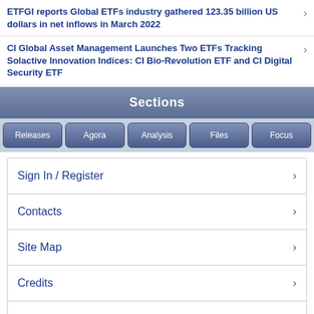ETFGI reports Global ETFs industry gathered 123.35 billion US dollars in net inflows in March 2022
CI Global Asset Management Launches Two ETFs Tracking Solactive Innovation Indices: CI Bio-Revolution ETF and CI Digital Security ETF
Sections
Releases
Agora
Analysis
Files
Focus
Sign In / Register
Contacts
Site Map
Credits
Web Version